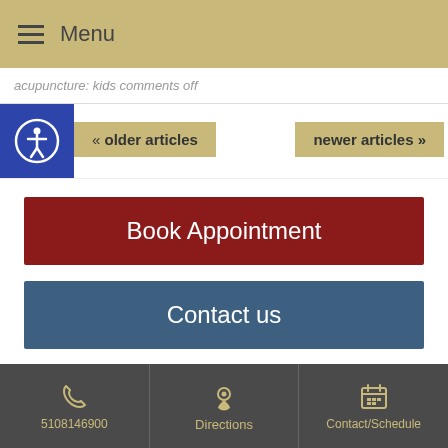Menu
acupuncture: kids comments off
« older articles
newer articles »
Book Appointment
Contact us
(510) 814-6900
5108146900  Directions  Contact/Schedule